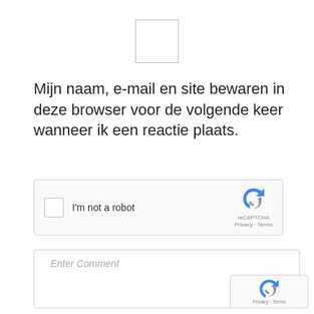[Figure (other): Empty checkbox square (form UI element)]
Mijn naam, e-mail en site bewaren in deze browser voor de volgende keer wanneer ik een reactie plaats.
[Figure (other): reCAPTCHA widget: checkbox with label 'I'm not a robot' and reCAPTCHA logo with Privacy · Terms text]
[Figure (screenshot): Enter Comment text area input field]
[Figure (other): Mini reCAPTCHA badge bottom right with Privacy · Terms]